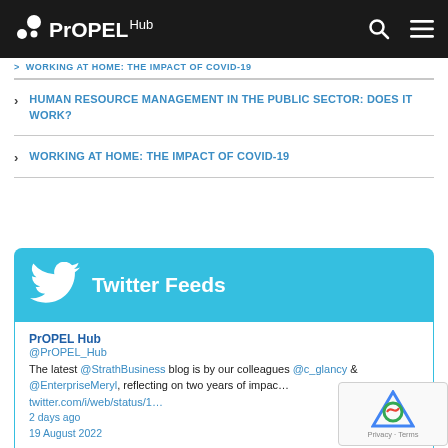PrOPEL Hub
HUMAN RESOURCE MANAGEMENT IN THE PUBLIC SECTOR: DOES IT WORK?
WORKING AT HOME: THE IMPACT OF COVID-19
Twitter Feeds
PrOPEL Hub @PrOPEL_Hub The latest @StrathBusiness blog is by our colleagues @c_glancy & @EnterpriseMeryl, reflecting on two years of impac… twitter.com/i/web/status/1… 2 days ago 19 August 2022
PrOPEL Hub